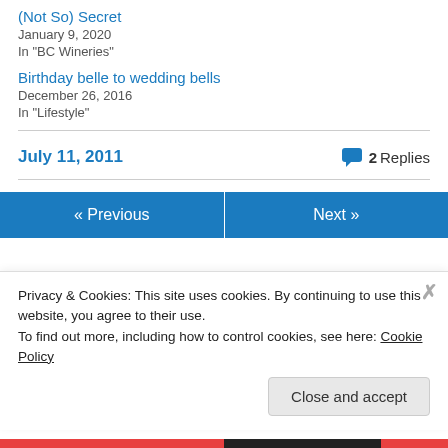(Not So) Secret
January 9, 2020
In "BC Wineries"
Birthday belle to wedding bells
December 26, 2016
In "Lifestyle"
July 11, 2011
2 Replies
« Previous
Next »
Privacy & Cookies: This site uses cookies. By continuing to use this website, you agree to their use.
To find out more, including how to control cookies, see here: Cookie Policy
Close and accept